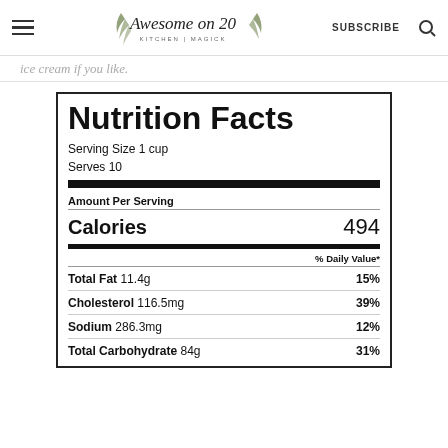Awesome on 20 KITCHEN | MAGICK — SUBSCRIBE
ice cream if you like.
| Nutrient | Amount | % Daily Value |
| --- | --- | --- |
| Serving Size | 1 cup |  |
| Serves | 10 |  |
| Calories |  | 494 |
| Total Fat | 11.4g | 15% |
| Cholesterol | 116.5mg | 39% |
| Sodium | 286.3mg | 12% |
| Total Carbohydrate | 84g | 31% |